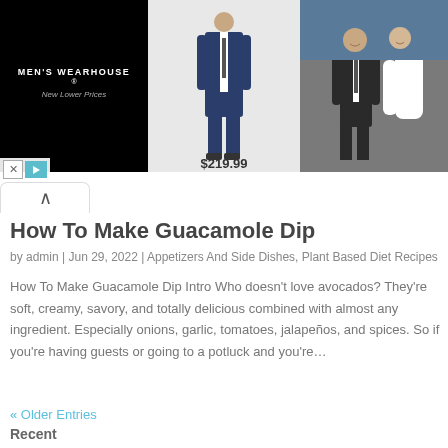[Figure (screenshot): Men's Wearhouse advertisement banner with logo on black background, a man in a navy blue suit priced at $219.99 in the center, and a couple in formal wedding attire on the right]
How To Make Guacamole Dip
by admin | Jun 29, 2022 | Appetizers And Side Dishes, Plant Based Diet Recipes
How To Make Guacamole Dip Intro Who doesn't love avocados? They're soft, creamy, savory, and totally delicious combined with almost any ingredient. Especially onions, garlic, tomatoes, jalapeños, and spices. So if you're having guests or going to a potluck and you're…
« Older Entries
Recent